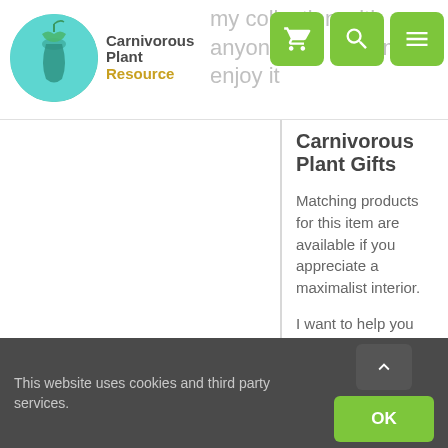[Figure (logo): Carnivorous Plant Resource logo with teal/green circle and plant illustration]
my collection with anyone you think may enjoy it
Carnivorous Plant Gifts
Matching products for this item are available if you appreciate a maximalist interior.
I want to help you find the ideal Carnivorous Plant gift. My range includes cushions, oven gloves, art prints, aprons and greeting cards.
This design is also available as a tropical wallpaper.
This website uses cookies and third party services.